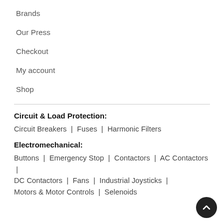Brands
Our Press
Checkout
My account
Shop
Circuit & Load Protection:
Circuit Breakers  |  Fuses  |  Harmonic Filters
Electromechanical:
Buttons  |  Emergency Stop  |  Contactors  |  AC Contactors  |  DC Contactors  |  Fans  |  Industrial Joysticks  |  Motors & Motor Controls  |  Selenoids